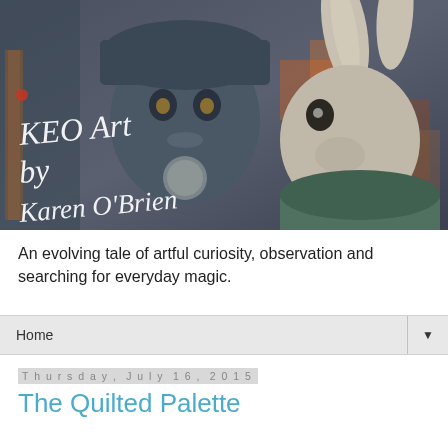[Figure (illustration): A painting banner showing a dark-toned girl wearing a hat and a large hare/rabbit. Text overlaid reads 'KEO Art by Karen O'Brien' in white handwritten-style lettering.]
An evolving tale of artful curiosity, observation and searching for everyday magic.
Home
Thursday, July 16, 2015
The Quilted Palette